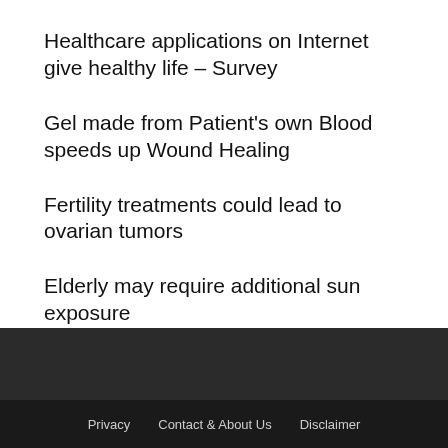Healthcare applications on Internet give healthy life – Survey
Gel made from Patient's own Blood speeds up Wound Healing
Fertility treatments could lead to ovarian tumors
Elderly may require additional sun exposure
Privacy   Contact & About Us   Disclaimer